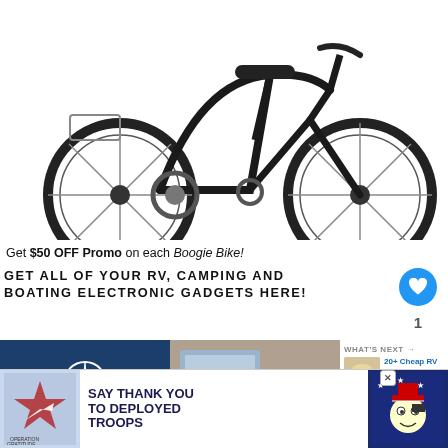[Figure (photo): Black Boogie electric city bike photographed from the side on white background]
Get $50 OFF Promo on each Boogie Bike!
GET ALL OF YOUR RV, CAMPING AND BOATING ELECTRONIC GADGETS HERE!
[Figure (photo): TechnoRV logo tile - dark navy blue background with compass rose icon, brand name TechnoRV, and tagline LEARN here. BUY here. Get SUPPORT here.]
[Figure (photo): Woman using tablet device in RV or vehicle interior]
[Figure (photo): WHAT'S NEXT arrow - thumbnail of jar with CHEAP RV HACKS text]
[Figure (photo): Operation Gratitude banner ad: SAY THANK YOU TO DEPLOYED TROOPS, with patriotic imagery]